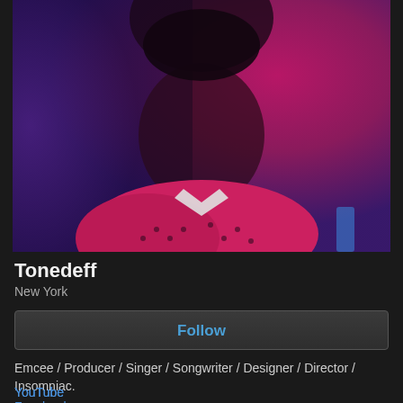[Figure (photo): Artistic photo of Tonedeff (male artist) against a purple and magenta/pink backdrop, wearing a polka-dot pink shirt, face partially cut off at top, dramatic colored lighting]
Tonedeff
New York
Follow
Emcee / Producer / Singer / Songwriter / Designer / Director / Insomniac.
YouTube
Facebook
Twitter